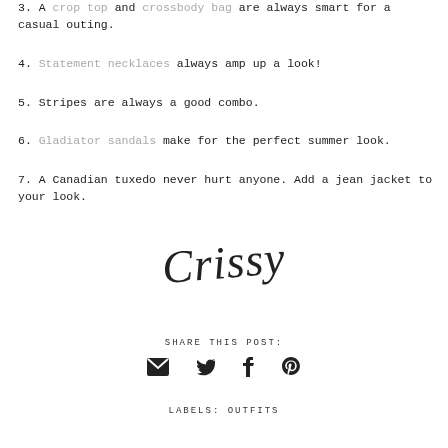3. A crop top and crossbody bag are always smart for a casual outing.
4. Statement necklaces always amp up a look!
5. Stripes are always a good combo.
6. Gladiator sandals make for the perfect summer look.
7. A Canadian tuxedo never hurt anyone. Add a jean jacket to your look.
[Figure (illustration): Handwritten cursive signature reading 'Crissy']
SHARE THIS POST:
[Figure (infographic): Social share icons: email envelope, Twitter bird, Facebook f, Pinterest P]
LABELS: OUTFITS